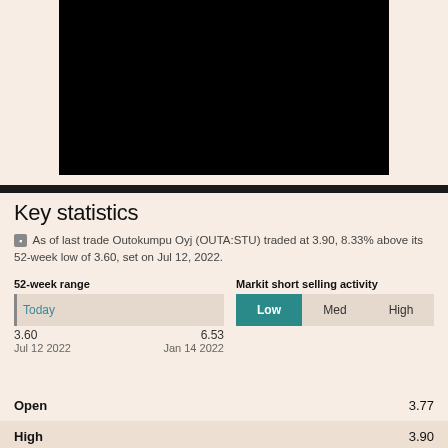[Figure (other): Black rectangle image area at top of page]
Key statistics
As of last trade Outokumpu Oyj (OUTA:STU) traded at 3.90, 8.33% above its 52-week low of 3.60, set on Jul 12, 2022.
| 52-week range | Markit short selling activity |
| --- | --- |
| Today | Low | Med | High |
| 3.60 ... 6.53 |  |
| Jul 12 2022 ... Jan 14 2022 |  |
|  |  |
| --- | --- |
| Open | 3.77 |
| High | 3.90 |